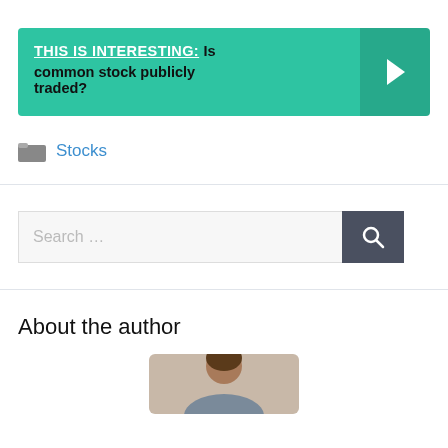[Figure (infographic): Teal banner with text 'THIS IS INTERESTING: Is common stock publicly traded?' and a dark teal arrow chevron on the right side]
Stocks
[Figure (other): Search bar with placeholder text 'Search ...' and a dark grey search button with magnifying glass icon]
About the author
[Figure (photo): Partial photo of a person (author), showing head and shoulders, cropped at bottom of page]